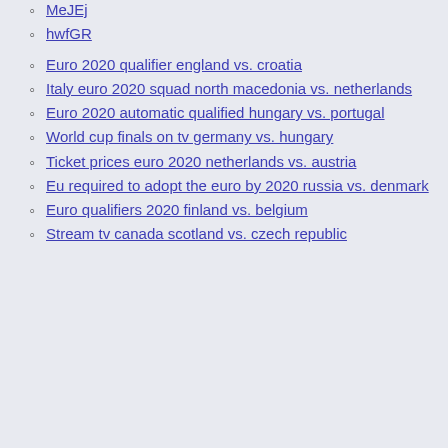MeJEj
hwfGR
Euro 2020 qualifier england vs. croatia
Italy euro 2020 squad north macedonia vs. netherlands
Euro 2020 automatic qualified hungary vs. portugal
World cup finals on tv germany vs. hungary
Ticket prices euro 2020 netherlands vs. austria
Eu required to adopt the euro by 2020 russia vs. denmark
Euro qualifiers 2020 finland vs. belgium
Stream tv canada scotland vs. czech republic